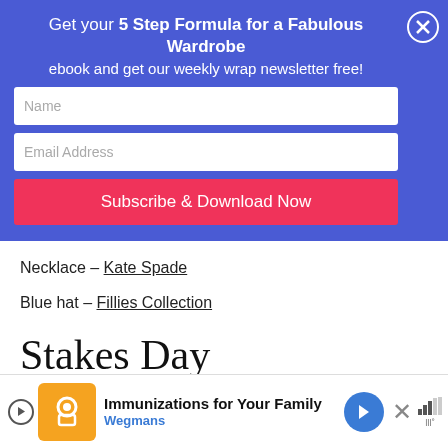Get your 5 Step Formula for a Fabulous Wardrobe ebook and get our weekly wrap newsletter free!
[Figure (screenshot): Email signup form with Name field, Email Address field, and Subscribe & Download Now button on blue background with close X button]
Necklace – Kate Spade
Blue hat – Fillies Collection
Stakes Day
Dress code: Relaxed Racing
Stakes Day 2016 Weather Forecast: 17 Possible sh...
[Figure (screenshot): Advertisement banner: Immunizations for Your Family - Wegmans]